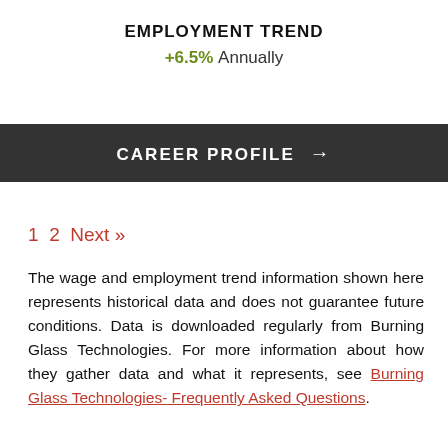EMPLOYMENT TREND
+6.5% Annually
CAREER PROFILE →
1 2 Next »
The wage and employment trend information shown here represents historical data and does not guarantee future conditions. Data is downloaded regularly from Burning Glass Technologies. For more information about how they gather data and what it represents, see Burning Glass Technologies- Frequently Asked Questions.